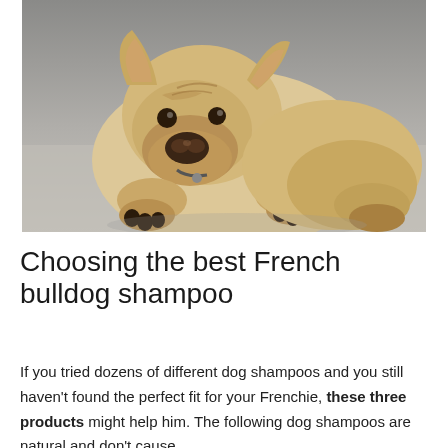[Figure (photo): A French bulldog puppy sitting on a gray surface, leaning forward with its paws out, looking at the camera with wrinkled face and large ears.]
Choosing the best French bulldog shampoo
If you tried dozens of different dog shampoos and you still haven't found the perfect fit for your Frenchie, these three products might help him. The following dog shampoos are natural and don't cause